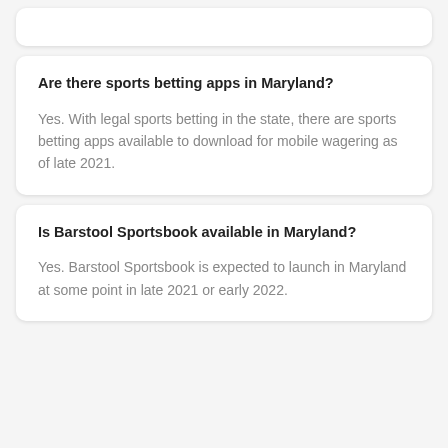Are there sports betting apps in Maryland?
Yes. With legal sports betting in the state, there are sports betting apps available to download for mobile wagering as of late 2021.
Is Barstool Sportsbook available in Maryland?
Yes. Barstool Sportsbook is expected to launch in Maryland at some point in late 2021 or early 2022.